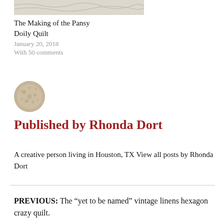[Figure (photo): Partial quilt photo at top of page, light-colored fabric texture]
The Making of the Pansy Doily Quilt
January 20, 2018
With 50 comments
[Figure (photo): Circular avatar image of a lace/doily quilt detail]
Published by Rhonda Dort
A creative person living in Houston, TX View all posts by Rhonda Dort
PREVIOUS: The “yet to be named” vintage linens hexagon crazy quilt.